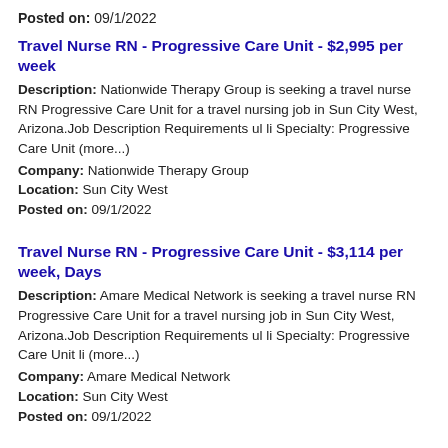Posted on: 09/1/2022
Travel Nurse RN - Progressive Care Unit - $2,995 per week
Description: Nationwide Therapy Group is seeking a travel nurse RN Progressive Care Unit for a travel nursing job in Sun City West, Arizona.Job Description Requirements ul li Specialty: Progressive Care Unit (more...)
Company: Nationwide Therapy Group
Location: Sun City West
Posted on: 09/1/2022
Travel Nurse RN - Progressive Care Unit - $3,114 per week, Days
Description: Amare Medical Network is seeking a travel nurse RN Progressive Care Unit for a travel nursing job in Sun City West, Arizona.Job Description Requirements ul li Specialty: Progressive Care Unit li (more...)
Company: Amare Medical Network
Location: Sun City West
Posted on: 09/1/2022
Travel Nurse RN - OR - Operating Room - Paying up to $4,420/week
Description: Vision is looking for Travel OR - Operating Room RN...